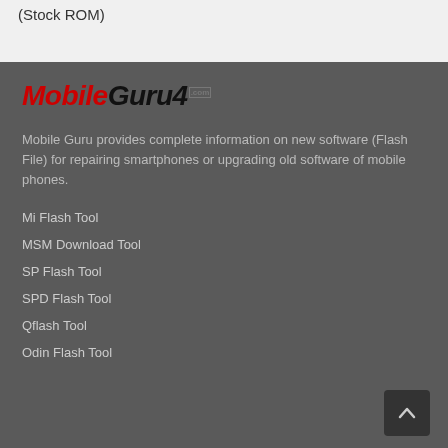(Stock ROM)
[Figure (logo): MobileGuru4.com logo with red italic 'Mobile' and black italic 'Guru4' with .com superscript]
Mobile Guru provides complete information on new software (Flash File) for repairing smartphones or upgrading old software of mobile phones.
Mi Flash Tool
MSM Download Tool
SP Flash Tool
SPD Flash Tool
Qflash Tool
Odin Flash Tool